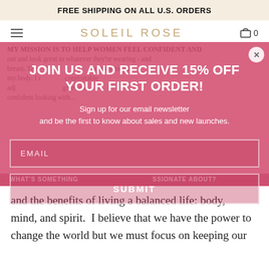FREE SHIPPING ON ALL U.S. ORDERS
[Figure (screenshot): Soleil Rose website navigation bar with hamburger menu, logo, and cart icon showing 0 items]
JOIN US AND RECEIVE 15% OFF YOUR FIRST ORDER!
Sign up for our email newsletter and be the first to know about sales and new launches.
EMAIL (input field)
SUBMIT (button)
and the benefits of living a balanced life: body, mind, and spirit.  I believe that we have the power to change the world but we must focus on keeping our